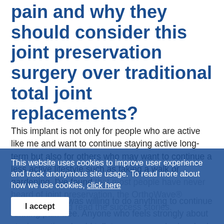pain and why they should consider this joint preservation surgery over traditional total joint replacements?
This implant is not only for people who are active like me and want to continue staying active long-term but also for others who may want to continue a less active lifestyle such as taking a walk or gardening. I've found that most people have never heard of joint preservation, the OrthoWave® implant. Go and read the success stories. The a runner and I was willing to do anything to continue running pain-free. Anyone who feels strongly about staying active should talk to someone who has had the procedure done and read the success stories. The
This website uses cookies to improve user experience and track anonymous site usage. To read more about how we use cookies, click here